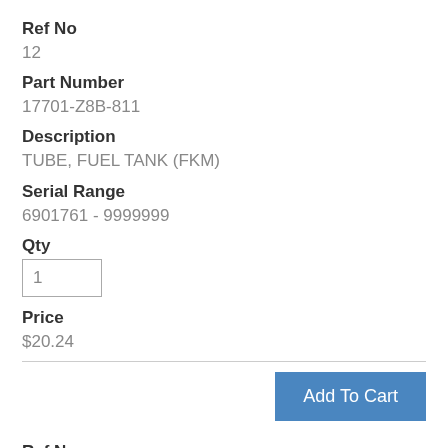Ref No
12
Part Number
17701-Z8B-811
Description
TUBE, FUEL TANK (FKM)
Serial Range
6901761 - 9999999
Qty
1
Price
$20.24
Add To Cart
Ref No
13
Part Number
17702-Z8B-801
Description
TUBE, FUEL (FKM)